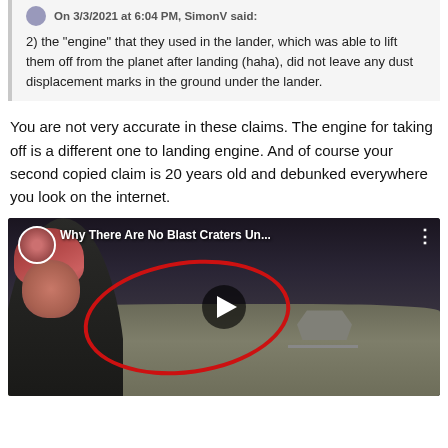On 3/3/2021 at 6:04 PM, SimonV said:
2) the "engine" that they used in the lander, which was able to lift them off from the planet after landing (haha), did not leave any dust displacement marks in the ground under the lander.
You are not very accurate in these claims. The engine for taking off is a different one to landing engine. And of course your second copied claim is 20 years old and debunked everywhere you look on the internet.
[Figure (screenshot): YouTube video thumbnail showing a woman with red hair pointing at a red circle drawn around the base of a lunar lander on the moon surface. Video title: 'Why There Are No Blast Craters Un...' with a small circular avatar thumbnail in the top left corner and three-dot menu icon in the top right. A play button is visible in the center.]